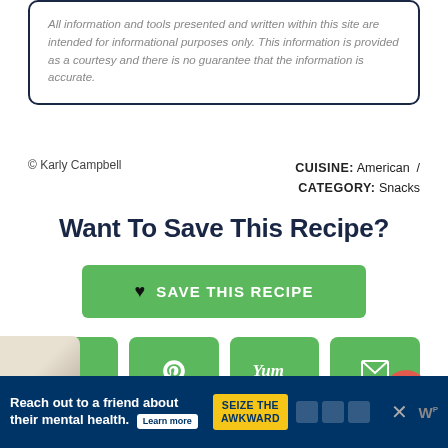All information and tools presented and written within this site are intended for informational purposes only. This information is provided as a courtesy and there is no guarantee that the information is accurate.
© Karly Campbell
CUISINE: American / CATEGORY: Snacks
Want To Save This Recipe?
♥ SAVE THIS RECIPE
[Figure (other): Social share buttons: Facebook, Pinterest, Yummly, Email (green rounded buttons)]
[Figure (other): Scroll-to-top button (red/coral circle with up arrow)]
[Figure (other): Ad banner: Reach out to a friend about their mental health. SEIZE THE AWKWARD. Learn more.]